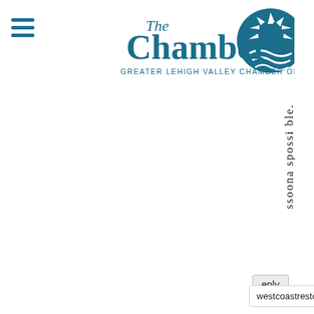[Figure (logo): The Chamber - Greater Lehigh Valley Chamber of Commerce logo with teal/blue text and a stylized sun/wave emblem]
s s o o n a s p o s s i b l e .
eply
westcoastrestorationinc